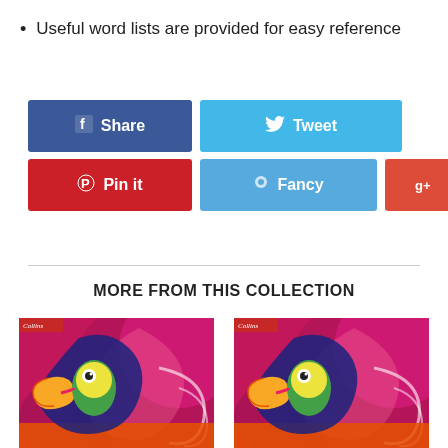Useful word lists are provided for easy reference
[Figure (screenshot): Social sharing buttons: Facebook Share (blue), Tweet (light blue), Pinterest Pin it (red), Fancy (blue), Google+ +1 button]
MORE FROM THIS COLLECTION
[Figure (photo): Two Collins book covers side by side, each featuring a colorful illustrated toucan on a pink/purple swirling background]
Collins